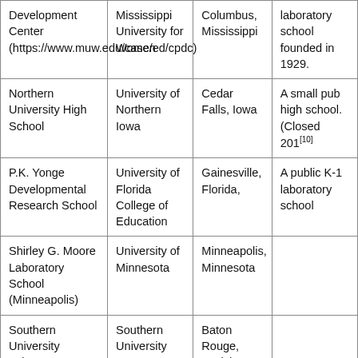| Development Center (https://www.muw.edu/case/ed/cpdc) | Mississippi University for Women | Columbus, Mississippi | laboratory school founded in 1929. |
| Northern University High School | University of Northern Iowa | Cedar Falls, Iowa | A small pub high school. (Closed 201[10] |
| P.K. Yonge Developmental Research School | University of Florida College of Education | Gainesville, Florida, | A public K-1 laboratory school |
| Shirley G. Moore Laboratory School (Minneapolis) | University of Minnesota | Minneapolis, Minnesota |  |
| Southern University Laboratory | Southern University | Baton Rouge, Louisiana |  |